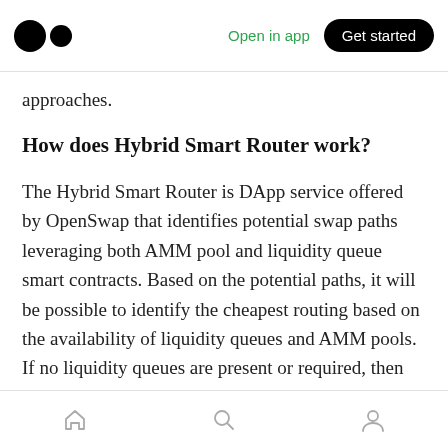Open in app  Get started
approaches.
How does Hybrid Smart Router work?
The Hybrid Smart Router is DApp service offered by OpenSwap that identifies potential swap paths leveraging both AMM pool and liquidity queue smart contracts. Based on the potential paths, it will be possible to identify the cheapest routing based on the availability of liquidity queues and AMM pools. If no liquidity queues are present or required, then only the AMM pool path will be presented. Similarly, if liquidity queue as a single